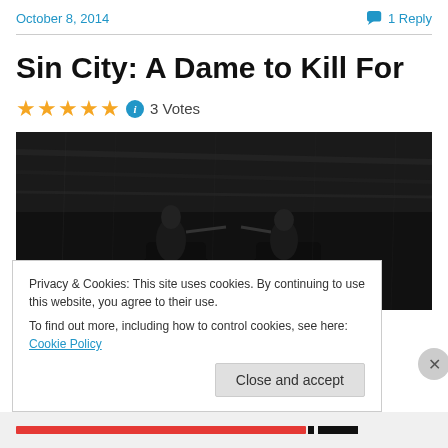October 8, 2014
1 Reply
Sin City: A Dame to Kill For
★★★★★ ℹ 3 Votes
[Figure (photo): Black and white movie still showing two figures on motorcycles in a dark scene from Sin City: A Dame to Kill For]
Privacy & Cookies: This site uses cookies. By continuing to use this website, you agree to their use.
To find out more, including how to control cookies, see here: Cookie Policy
Close and accept